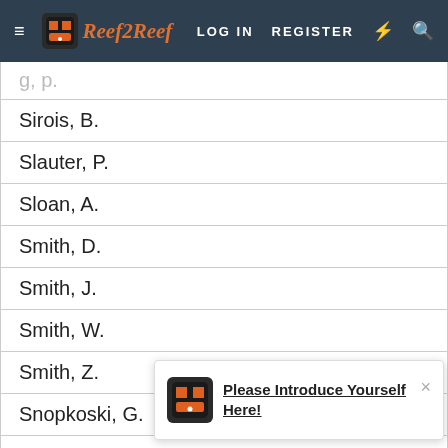Reef2Reef — LOG IN   REGISTER
| g, p. |
| Sirois, B. |
| Slauter, P. |
| Sloan, A. |
| Smith, D. |
| Smith, J. |
| Smith, W. |
| Smith, Z. |
| Snopkoski, G. |
| Snyder, N. |
| Southard, J. |
| Speer, C. |
Please Introduce Yourself Here!